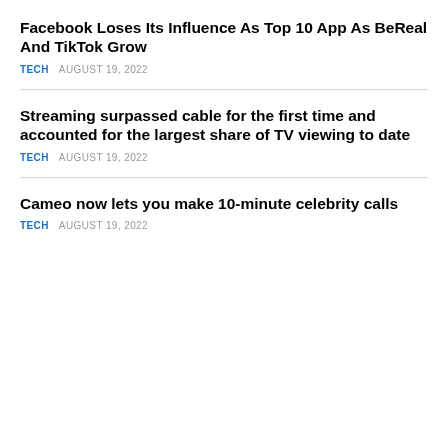Facebook Loses Its Influence As Top 10 App As BeReal And TikTok Grow
TECH   AUGUST 19, 2022
Streaming surpassed cable for the first time and accounted for the largest share of TV viewing to date
TECH   AUGUST 19, 2022
Cameo now lets you make 10-minute celebrity calls
TECH   AUGUST 19, 2022